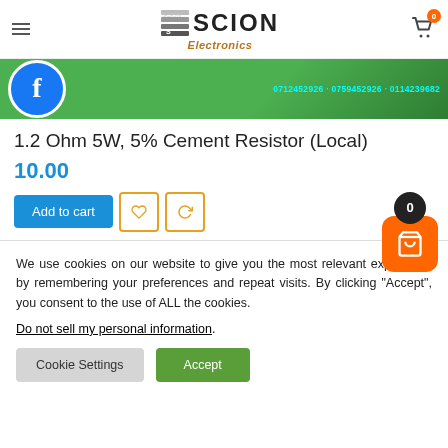Scion Electronics
[Figure (photo): Product image strip showing green banner with Facebook circle logo and phone numbers: 0712452926 - 0759452926 - 0114239682]
1.2 Ohm 5W, 5% Cement Resistor (Local)
10.00
Add to cart
We use cookies on our website to give you the most relevant experience by remembering your preferences and repeat visits. By clicking “Accept”, you consent to the use of ALL the cookies.
Do not sell my personal information.
Cookie Settings
Accept